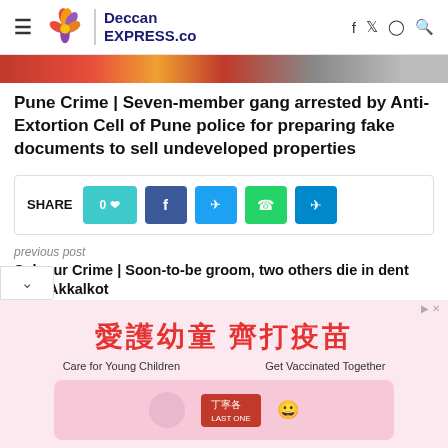Deccan EXPRESS.co
[Figure (photo): Partial newspaper/image strip visible at top of article]
Pune Crime | Seven-member gang arrested by Anti-Extortion Cell of Pune police for preparing fake documents to sell undeveloped properties
SHARE  0♡  f  Twitter  WhatsApp  Telegram
previous post
Solapur Crime | Soon-to-be groom, two others die in dent near Akkalkot
[Figure (infographic): Advertisement banner: 愛護幼童 齊打疫苗 - Care for Young Children Get Vaccinated Together]